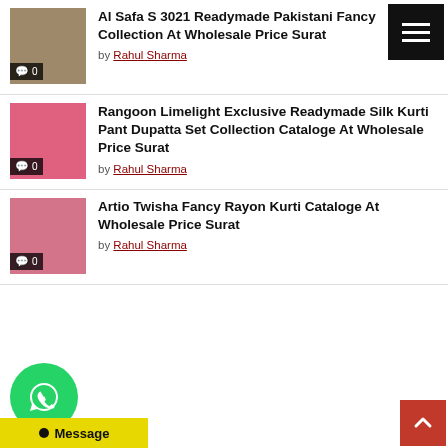[Figure (screenshot): Menu/hamburger button top right, black background with three white lines]
Al Safa S 3021 Readymade Pakistani Fancy Collection At Wholesale Price Surat by Rahul Sharma
Rangoon Limelight Exclusive Readymade Silk Kurti Pant Dupatta Set Collection Cataloge At Wholesale Price Surat by Rahul Sharma
Artio Twisha Fancy Rayon Kurti Cataloge At Wholesale Price Surat by Rahul Sharma
[Figure (logo): WhatsApp green circular icon with phone handset]
Message
[Figure (other): Red scroll-to-top button with up arrow, bottom right corner]